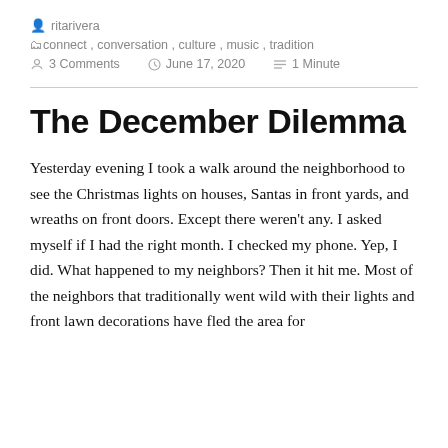ritarivera
connect, conversation, culture, music, tradition
3 Comments  June 17, 2020  1 Minute
The December Dilemma
Yesterday evening I took a walk around the neighborhood to see the Christmas lights on houses, Santas in front yards, and wreaths on front doors. Except there weren't any. I asked myself if I had the right month. I checked my phone. Yep, I did. What happened to my neighbors? Then it hit me. Most of the neighbors that traditionally went wild with their lights and front lawn decorations have fled the area for